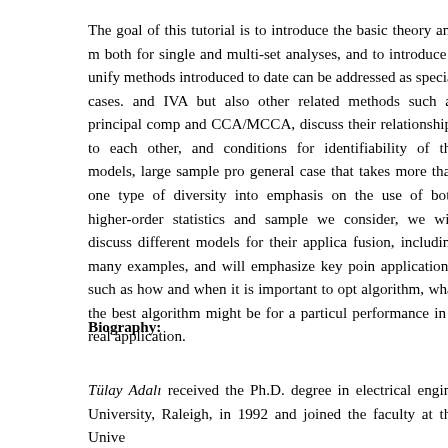The goal of this tutorial is to introduce the basic theory and m both for single and multi-set analyses, and to introduce a unify methods introduced to date can be addressed as special cases. and IVA but also other related methods such as principal comp and CCA/MCCA, discuss their relationships to each other, and conditions for identifiability of the models, large sample pro general case that takes more than one type of diversity into emphasis on the use of both higher-order statistics and sample we consider, we will discuss different models for their applica fusion, including many examples, and will emphasize key poin applications, such as how and when it is important to opt algorithm, what the best algorithm might be for a particul performance in a real application.
Biography:
Tülay Adalı received the Ph.D. degree in electrical engine University, Raleigh, in 1992 and joined the faculty at the Unive